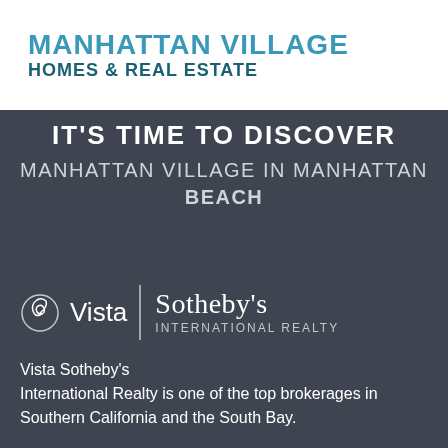[Figure (logo): Manhattan Village Homes & Real Estate logo with teal/blue text on white background]
IT'S TIME TO DISCOVER MANHATTAN VILLAGE IN MANHATTAN BEACH
[Figure (logo): Vista Sotheby's International Realty logo with shell icon and vertical divider on dark background]
Vista Sotheby's International Realty is one of the top brokerages in Southern California and the South Bay.